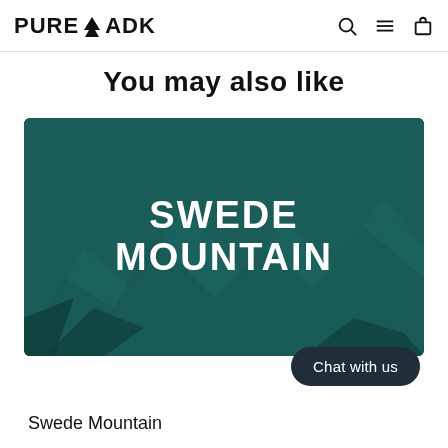PURE ADK
You may also like
[Figure (illustration): Product banner image with dark teal background showing mountain silhouette and text 'SWEDE MOUNTAIN' overlaid in bold white uppercase letters]
Chat with us
Swede Mountain